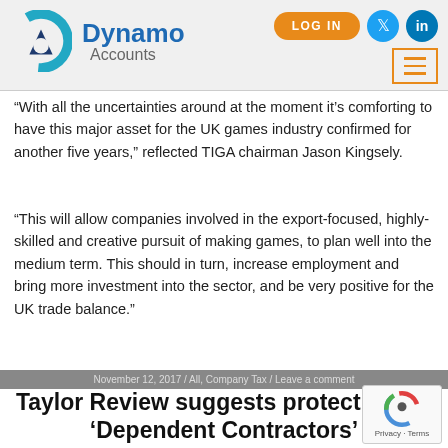Dynamo Accounts — LOG IN
“With all the uncertainties around at the moment it’s comforting to have this major asset for the UK games industry confirmed for another five years,” reflected TIGA chairman Jason Kingsely.
“This will allow companies involved in the export-focused, highly-skilled and creative pursuit of making games, to plan well into the medium term. This should in turn, increase employment and bring more investment into the sector, and be very positive for the UK trade balance.”
November 12, 2017 / All, Company Tax / Leave a comment
Taylor Review suggests protection for ‘Dependent Contractors’